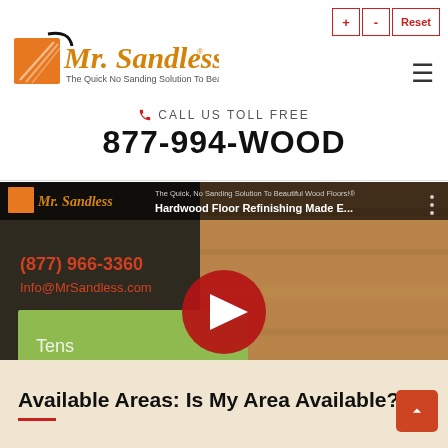Mr. Sandless — The Quick No Sanding Solution To Beautiful Wood Floors®
CALL US TOLL FREE
877-994-WOOD
[Figure (screenshot): YouTube video thumbnail for Mr. Sandless — Hardwood Floor Refinishing Made E... showing logo, phone (877) 966-3360, Info@MrSandless.com, green card with 'Tens', and play button overlay]
Available Areas: Is My Area Available?